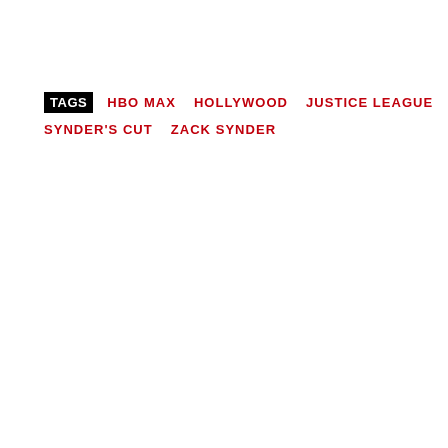TAGS   HBO MAX   HOLLYWOOD   JUSTICE LEAGUE   MOVIES   SYNDER'S CUT   ZACK SYNDER